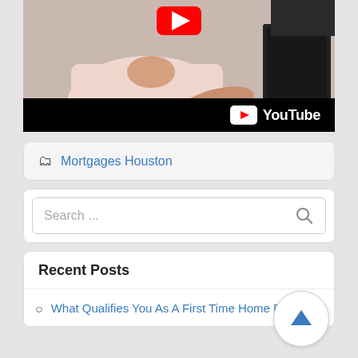[Figure (screenshot): YouTube video thumbnail showing a person at a desk with hands gesturing, with a YouTube logo bar at the bottom and a red YouTube play button at top center]
Mortgages Houston
Search ...
Recent Posts
What Qualifies You As A First Time Home Buyer